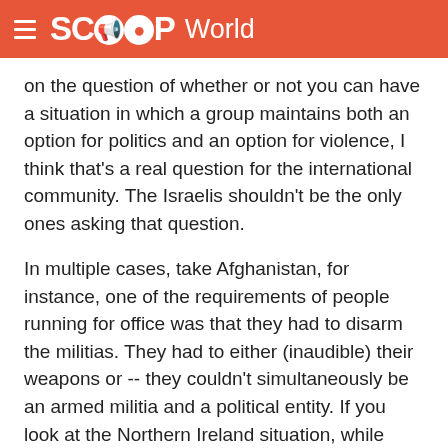SCOOP World
on the question of whether or not you can have a situation in which a group maintains both an option for politics and an option for violence, I think that's a real question for the international community. The Israelis shouldn't be the only ones asking that question.
In multiple cases, take Afghanistan, for instance, one of the requirements of people running for office was that they had to disarm the militias. They had to either (inaudible) their weapons or -- they couldn't simultaneously be an armed militia and a political entity. If you look at the Northern Ireland situation, while Sinn Fein did (inaudible) while there was still an